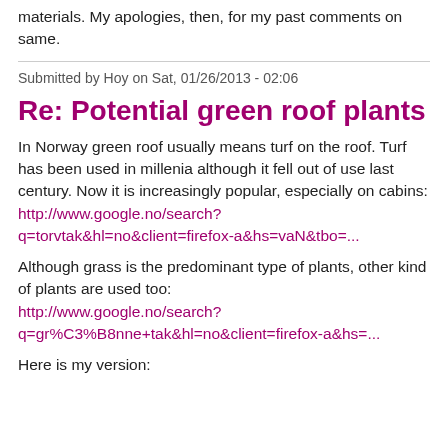materials.  My apologies, then, for my past comments on same.
Submitted by Hoy on Sat, 01/26/2013 - 02:06
Re: Potential green roof plants
In Norway green roof usually means turf on the roof. Turf has been used in millenia although it fell out of use last century. Now it is increasingly popular, especially on cabins:
http://www.google.no/search?q=torvtak&hl=no&client=firefox-a&hs=vaN&tbo=...
Although grass is the predominant type of plants, other kind of plants are used too:
http://www.google.no/search?q=gr%C3%B8nne+tak&hl=no&client=firefox-a&hs=...
Here is my version: